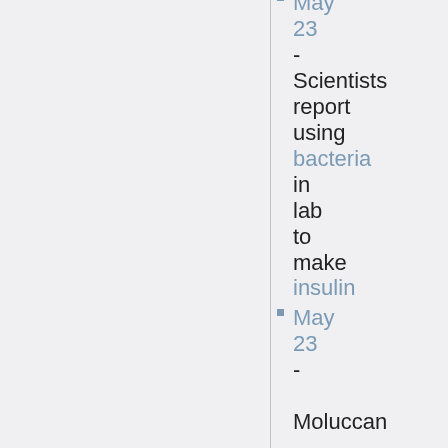May 23 - Scientists report using bacteria in lab to make insulin
May 23 - Moluccan